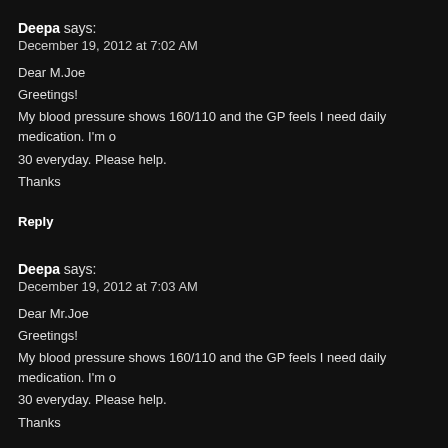Deepa says:
December 19, 2012 at 7:02 AM
Dear M.Joe
Greetings!
My blood pressure shows 160/110 and the GP feels I need daily medication. I'm o
30 everyday. Please help.
Thanks
Reply
Deepa says:
December 19, 2012 at 7:03 AM
Dear Mr.Joe
Greetings!
My blood pressure shows 160/110 and the GP feels I need daily medication. I'm o
30 everyday. Please help.
Thanks
Reply
sangeeta says:
December 20, 2012 at 7:15 AM
Hi joe
would like to ask what what you suggest me for loosing weight.
Reply